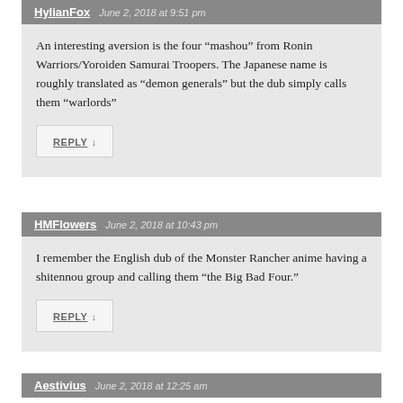HylianFox  June 2, 2018 at 9:51 pm
An interesting aversion is the four “mashou” from Ronin Warriors/Yoroiden Samurai Troopers. The Japanese name is roughly translated as “demon generals” but the dub simply calls them “warlords”
REPLY ↓
HMFlowers  June 2, 2018 at 10:43 pm
I remember the English dub of the Monster Rancher anime having a shitennou group and calling them “the Big Bad Four.”
REPLY ↓
Aestivius  June 2, 2018 at 12:25 am